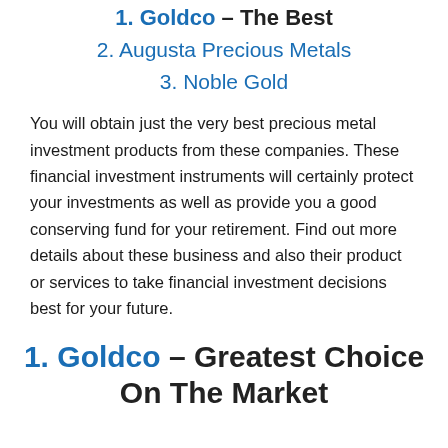1. Goldco – The Best
2. Augusta Precious Metals
3. Noble Gold
You will obtain just the very best precious metal investment products from these companies. These financial investment instruments will certainly protect your investments as well as provide you a good conserving fund for your retirement. Find out more details about these business and also their product or services to take financial investment decisions best for your future.
1. Goldco – Greatest Choice On The Market
[Figure (logo): Goldco logo partial view at bottom of page]